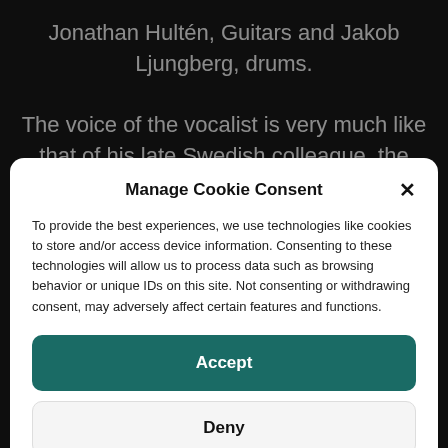Jonathan Hultén, Guitars and Jakob Ljungberg, drums.
The voice of the vocalist is very much like that of his late Swedish colleague, the legendary and infamous Jon
Manage Cookie Consent
To provide the best experiences, we use technologies like cookies to store and/or access device information. Consenting to these technologies will allow us to process data such as browsing behavior or unique IDs on this site. Not consenting or withdrawing consent, may adversely affect certain features and functions.
Accept
Deny
View preferences
Cookie Policy